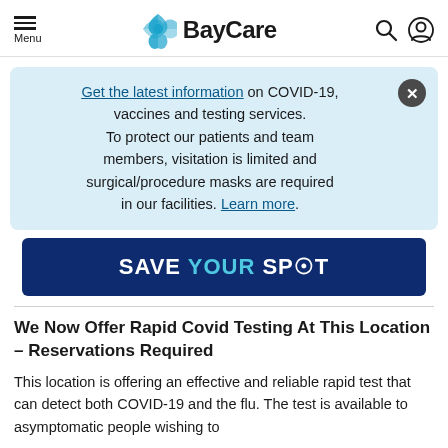BayCare
Get the latest information on COVID-19, vaccines and testing services. To protect our patients and team members, visitation is limited and surgical/procedure masks are required in our facilities. Learn more.
SAVE YOUR SPOT
We Now Offer Rapid Covid Testing At This Location – Reservations Required
This location is offering an effective and reliable rapid test that can detect both COVID-19 and the flu. The test is available to asymptomatic people wishing to